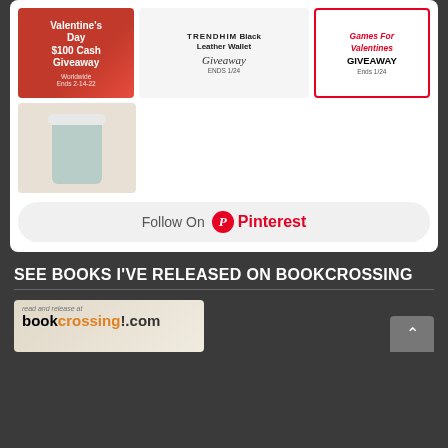[Figure (screenshot): Grid of giveaway promotional images: Valentine's Day $100 Cash Giveaway (Worldwide, Ends 2-14-22), TRENDHIM Black Leather Wallet Giveaway (Ends 1/24), Games For Valentines GIVEAWAY (Ends 1/24), and a coffee cup with open book image]
[Figure (screenshot): Follow On Pinterest button with Pinterest logo]
SEE BOOKS I'VE RELEASED ON BOOKCROSSING
[Figure (logo): BookCrossing.com banner: 'read and release at bookcrossing.com' with yellow crossing-guard logo]